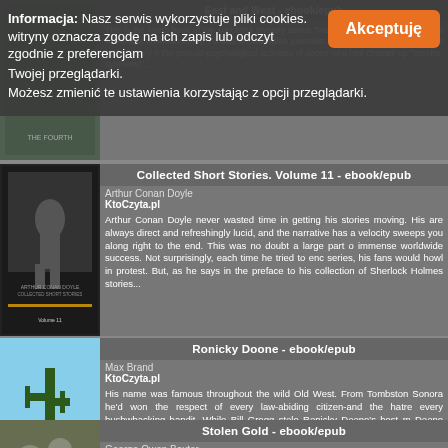[Figure (screenshot): Background book listing partially visible behind cookie notification]
Informacja: Nasz serwis wykorzystuje pliki cookies. Korzystanie z witryny oznacza zgodę na ich zapis lub odczyt zgodnie z preferencjami Twojej przeglądarki. Możesz zmienić te ustawienia korzystając z opcji przeglądarki.
Akceptuję
Collected Short Stories. Volume 11 - ebook/epub
Arthur Conan Doyle
KtoCzyta.pl
Arthur Conan Doyle never wasted time in getting his stories moving. His are always direct and refreshingly lucid, and the narrative has a velocity sweeps you along right to the end. This was no doubt a large part o immense worldwide success. Not surprisingly, each time he tried to enc series, his fans would howl in protest. But, as he says in the preface to his collection of Sherlock Holmes stories...
Ronicky Doone - ebook/epub
Max Brand
KtoCzyta.pl
His name was famous throughout the wild Old West. From Tombston Sonora he'd won the respect of every law-abiding citizen-and the hatre every bushwhacking bandit. While Bill Gregg stole Ronicky Doone's best m Doone thanked him with a bullet in the leg. When he discovered that Bill desperately searching for a girl whose name he didn't know, Ronicy's into was captured. Helping him track the girl down was no real challenge...
Stolen Gold - ebook/epub
George Owen Baxter
Ventigo Media